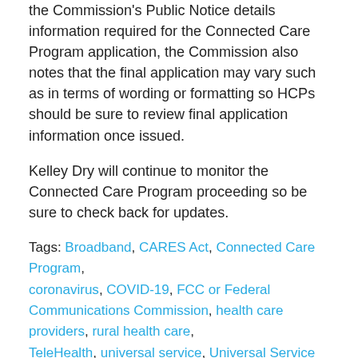the Commission's Public Notice details information required for the Connected Care Program application, the Commission also notes that the final application may vary such as in terms of wording or formatting so HCPs should be sure to review final application information once issued.
Kelley Dry will continue to monitor the Connected Care Program proceeding so be sure to check back for updates.
Tags: Broadband, CARES Act, Connected Care Program, coronavirus, COVID-19, FCC or Federal Communications Commission, health care providers, rural health care, TeleHealth, universal service, Universal Service Fund, USAC
[Figure (infographic): Social sharing icons: print, email, Twitter, Facebook, LinkedIn]